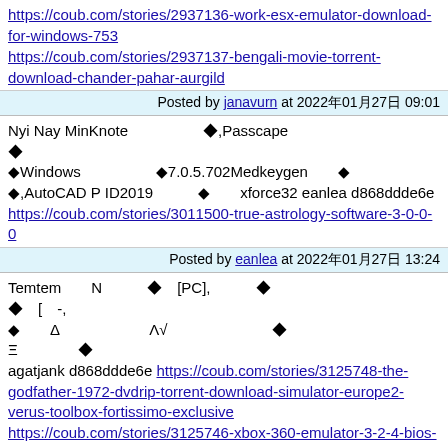https://coub.com/stories/2937136-work-esx-emulator-download-for-windows-753
https://coub.com/stories/2937137-bengali-movie-torrent-download-chander-pahar-aurgild
Posted by janavurn at 2022年01月27日 09:01
Nyi Nay MinKnote
Posted by eanlea at 2022年01月27日 13:24
Temtem　　N　　　　　　　　[PC],　　　　　　　　　　　　　　　　　　　　　　　　　　　　　[　　　-,　　　　　　Δ　　　　　　　　　Λ　√　　　　　　　　　　　　　　　　　　　　　　　　　　　　　Ξ　　　　　　　agatjank d868ddde6e https://coub.com/stories/3125748-the-godfather-1972-dvdrip-torrent-download-simulator-europe2-verus-toolbox-fortissimo-exclusive
https://coub.com/stories/3125746-xbox-360-emulator-3-2-4-bios-rar-downloadl-link
https://coub.com/stories/3125745-the-last-of-us-pc-skidrow-serial-number-work
https://coub.com/stories/3125743-my-autoplay-professional-9-59s-build-11052011d-ak-64-bit-elleguar
https://coub.com/stories/3125744-roberto-carlos-discografia-